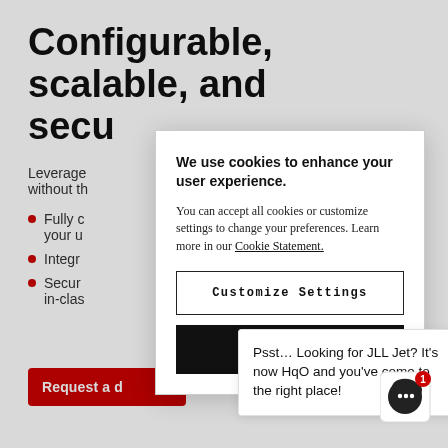Configurable, scalable, and secu
Leverage ments without th
Fully c to meet your u
Integr ers
Secur d by best-in-clas
[Figure (screenshot): Cookie consent modal dialog with title 'We use cookies to enhance your user experience.', body text about cookies, a 'Customize Settings' button and an 'Accept All' button]
Psst… Looking for JLL Jet? It's now HqO and you've come to the right place!
[Figure (illustration): Red request a demo button and chat support icon with notification badge showing 1]